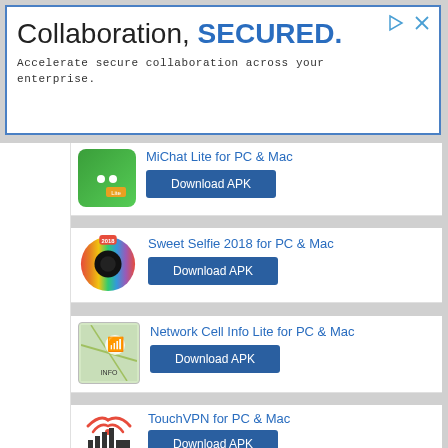[Figure (infographic): Advertisement banner with text 'Collaboration, SECURED.' and subtitle 'Accelerate secure collaboration across your enterprise.']
MiChat Lite for PC & Mac — Download APK
Sweet Selfie 2018 for PC & Mac — Download APK
Network Cell Info Lite for PC & Mac — Download APK
TouchVPN for PC & Mac — Download APK
Super VPN Cloud for PC & Mac — Download APK